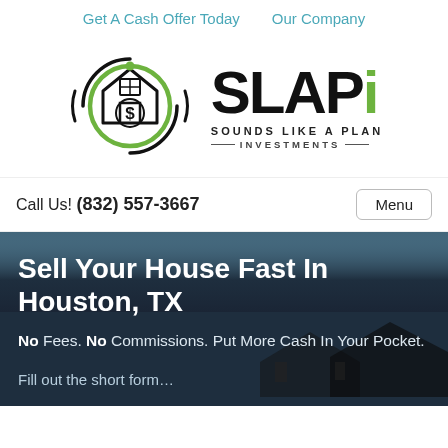Get A Cash Offer Today   Our Company
[Figure (logo): SLAPi - Sounds Like A Plan Investments logo with house/dollar sign icon]
Call Us! (832) 557-3667   Menu
Sell Your House Fast In Houston, TX
No Fees. No Commissions. Put More Cash In Your Pocket.
Fill out the short form...